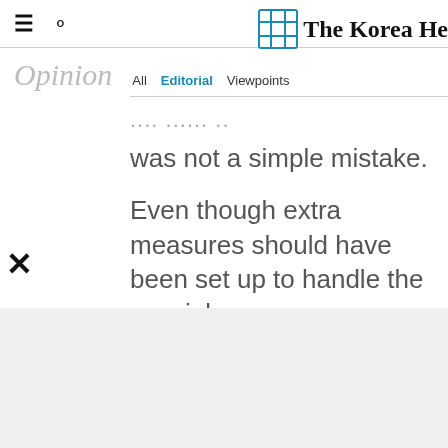The Korea Herald - Opinion | All | Editorial | Viewpoints
was not a simple mistake.
Even though extra measures should have been set up to handle the special